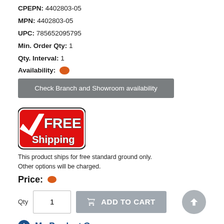CPEPN: 4402803-05
MPN: 4402803-05
UPC: 785652095795
Min. Order Qty: 1
Qty. Interval: 1
Availability: [orange indicator]
[Figure (other): Gray button: Check Branch and Showroom availability]
[Figure (logo): Free Shipping badge with red background and checkmark]
This product ships for free standard ground only. Other options will be charged.
Price: [orange indicator]
[Figure (other): Qty input field with value 1, ADD TO CART button, and up arrow circle button]
My Product Group
[Figure (other): Blue bar partially showing See ground]